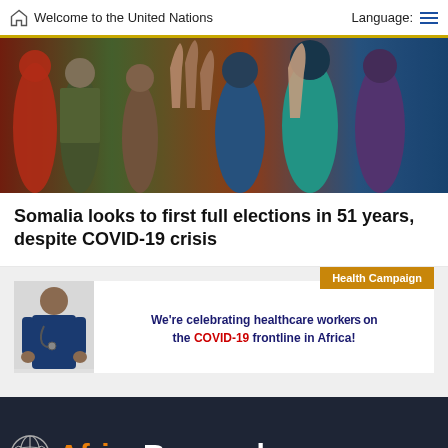Welcome to the United Nations   Language:
[Figure (photo): Crowd of people including children reaching out hands, some in military camouflage, outdoors in Africa]
Somalia looks to first full elections in 51 years, despite COVID-19 crisis
[Figure (photo): Health Campaign banner: Doctor/nurse figure on left, text reading 'We're celebrating healthcare workers on the COVID-19 frontline in Africa!' with Health Campaign label in orange]
[Figure (logo): Africa Renewal logo with UN emblem on dark navy background — orange 'Africa' and white 'Renewal' text with Africa continent silhouette]